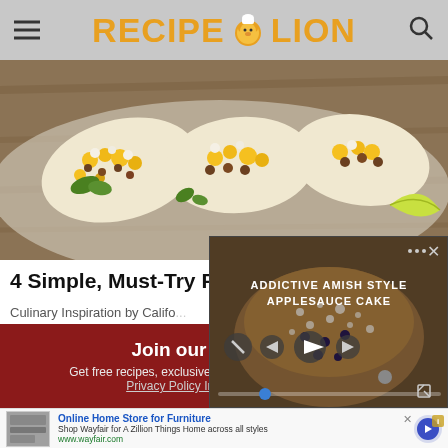RecipeLion
[Figure (photo): Hero image of tacos filled with corn, lentils, and greens on a wooden surface with lime]
4 Simple, Must-Try Re... Your Routine
Culinary Inspiration by Califo...
[Figure (screenshot): Video overlay showing Addictive Amish Style Applesauce Cake with playback controls]
Join our comm...
Get free recipes, exclusive partner offers, and more.
Privacy Policy Information Use
[Figure (photo): Advertisement banner for Wayfair Online Home Store for Furniture with appliances image]
Online Home Store for Furniture
Shop Wayfair for A Zillion Things Home across all styles
www.wayfair.com